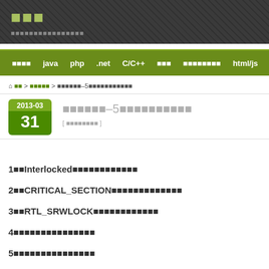■■■
■■■■■■■■■■■■■■■■
■■■■  java  php  .net  C/C++  ■■■  ■■■■■■■■  html/js  a
⌂ ■■ > ■■■■■ > ■■■■■■–5■■■■■■■■■■■
■■■■■■–5■■■■■■■■■■
[ ■■■■■■■■ ]
1■■Interlocked■■■■■■■■■■■■
2■■CRITICAL_SECTION■■■■■■■■■■■■■
3■■RTL_SRWLOCK■■■■■■■■■■■■
4■■■■■■■■■■■■■■■
5■■■■■■■■■■■■■■■